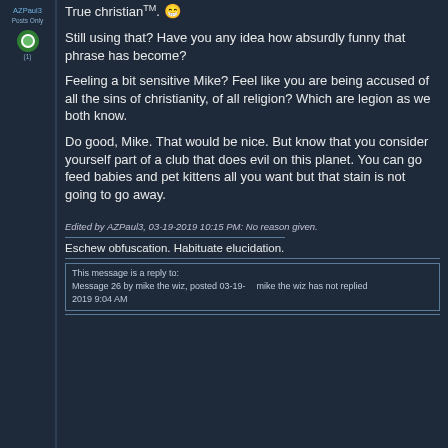AZPaul3
Posts Only
(1)
True christianᴜᴹ. 😁
Still using that? Have you any idea how absurdly funny that phrase has become?
Feeling a bit sensitive Mike? Feel like you are being accused of all the sins of christianity, of all religion? Which are legion as we both know.
Do good, Mike. That would be nice. But know that you consider yourself part of a club that does evil on this planet. You can go feed babies and pet kittens all you want but that stain is not going to go away.
Edited by AZPaul3, 03-19-2019 10:15 PM: No reason given.
Eschew obfuscation. Habituate elucidation.
This message is a reply to:
Message 26 by mike the wiz, posted 03-19-2019 9:04 AM
mike the wiz has not replied